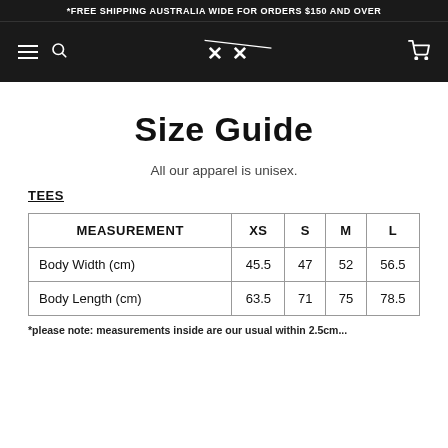*FREE SHIPPING AUSTRALIA WIDE FOR ORDERS $150 AND OVER
Size Guide
All our apparel is unisex.
TEES
| MEASUREMENT | XS | S | M | L |
| --- | --- | --- | --- | --- |
| Body Width (cm) | 45.5 | 47 | 52 | 56.5 |
| Body Length (cm) | 63.5 | 71 | 75 | 78.5 |
*please note: measurements inside are our usual within 2.5cm...